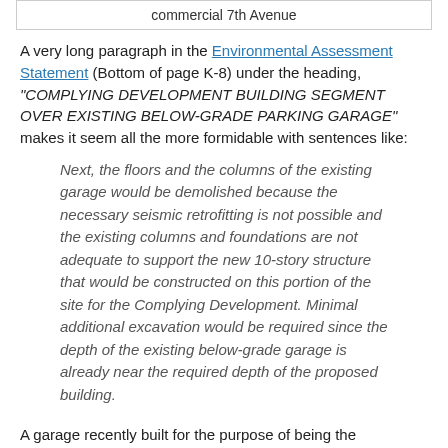commercial 7th Avenue
A very long paragraph in the Environmental Assessment Statement (Bottom of page K-8) under the heading, “COMPLYING DEVELOPMENT BUILDING SEGMENT OVER EXISTING BELOW-GRADE PARKING GARAGE” makes it seem all the more formidable with sentences like:
Next, the floors and the columns of the existing garage would be demolished because the necessary seismic retrofitting is not possible and the existing columns and foundations are not adequate to support the new 10-story structure that would be constructed on this portion of the site for the Complying Development. Minimal additional excavation would be required since the depth of the existing below-grade garage is already near the required depth of the proposed building.
A garage recently built for the purpose of being the foundation for a future medical facility and it was not properly designed to withstand earthquakes?  Irrespective of